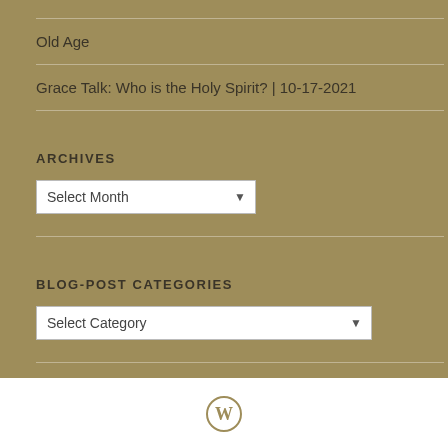Old Age
Grace Talk: Who is the Holy Spirit? | 10-17-2021
ARCHIVES
[Figure (screenshot): A dropdown select box showing 'Select Month']
BLOG-POST CATEGORIES
[Figure (screenshot): A dropdown select box showing 'Select Category']
[Figure (logo): WordPress logo (circle W icon) in gold color at the bottom center]